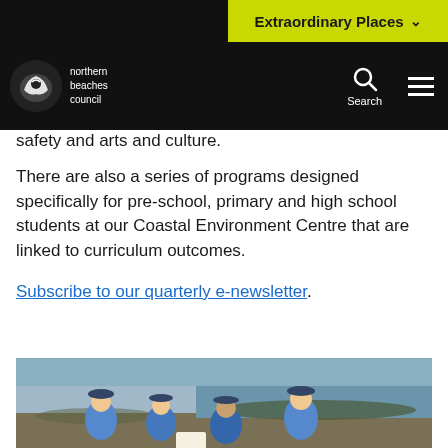Extraordinary Places
[Figure (logo): Northern Beaches Council logo — circular emblem with white bird/hand motif on black background, with text 'northern beaches council' in white]
safety and arts and culture.
There are also a series of programs designed specifically for pre-school, primary and high school students at our Coastal Environment Centre that are linked to curriculum outcomes.
Subscribe to our quarterly e-newsletter.
[Figure (photo): Children in blue school uniforms crouching on rocky coastal ground, examining something, with ocean and rocks in background]